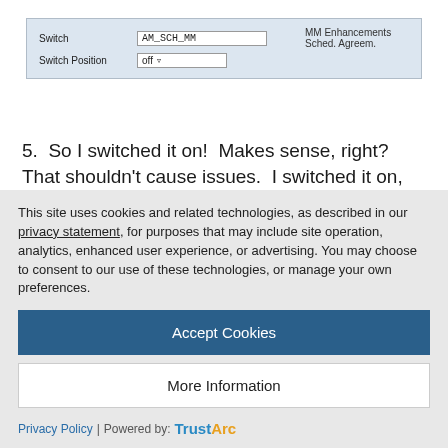[Figure (screenshot): SAP-like UI screenshot showing a table with Switch field set to AM_SCH_MM with description 'MM Enhancements Sched. Agreem.' and Switch Position field set to 'off' with a dropdown]
5.  So I switched it on!  Makes sense, right?  That shouldn't cause issues.  I switched it on, and saved the changes in the package where all my custom development was saved.
6.  Now once I had switched the switch on, strange things started to happen.  So I switched it off, and went home for the day.  Did I mention I come into work early and leave early?  That is a really
This site uses cookies and related technologies, as described in our privacy statement, for purposes that may include site operation, analytics, enhanced user experience, or advertising. You may choose to consent to our use of these technologies, or manage your own preferences.
Accept Cookies
More Information
Privacy Policy | Powered by:  TrustArc
It seems that I attached the switch to my package.  So now the